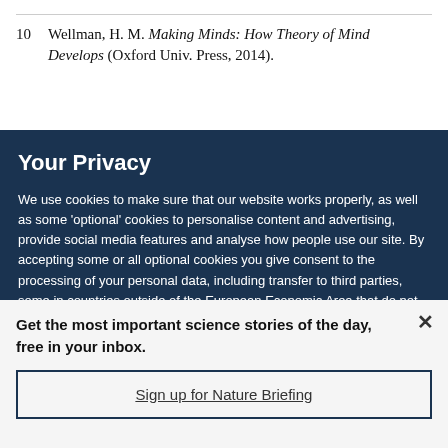10  Wellman, H. M. Making Minds: How Theory of Mind Develops (Oxford Univ. Press, 2014).
Your Privacy
We use cookies to make sure that our website works properly, as well as some 'optional' cookies to personalise content and advertising, provide social media features and analyse how people use our site. By accepting some or all optional cookies you give consent to the processing of your personal data, including transfer to third parties, some in countries outside of the European Economic Area that do not offer the same data protection standards as the country where you live. You can decide which optional cookies to accept by clicking on 'Manage Settings', where you can
Get the most important science stories of the day, free in your inbox.
Sign up for Nature Briefing